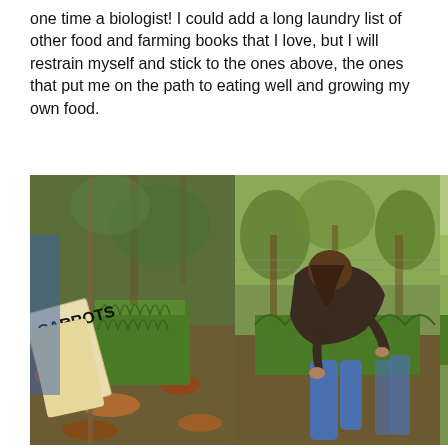one time a biologist!  I could add a long laundry list of other food and farming books that I love, but I will restrain myself and stick to the ones above, the ones that put me on the path to eating well and growing my own food.
[Figure (photo): Three side-by-side outdoor garden photos: left shows a handmade 'CARROTS' sign next to a garden bed with leafy carrot tops and fallen leaves on the ground; center shows a woman in a dark long-sleeve shirt and blue jeans bending over to tend to the carrot bed in a fenced garden area with forest in the background; right shows a view of the green carrot tops row with someone's legs visible, forest and open field in the background, and what appears to be a carrot being held.]